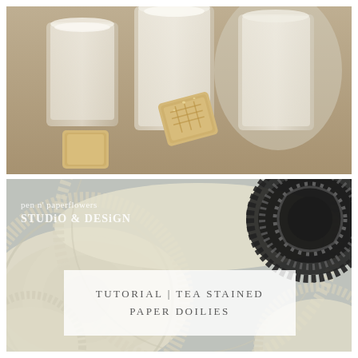[Figure (photo): Close-up photo of milk glasses and square biscuits/cookies on a wooden surface with soft focus background]
[Figure (photo): Photo of cream/beige tea-stained paper doilies and a black lace doily on a light blue/grey surface. Overlaid with studio logo text reading 'pen n' paperflowers STUDIO & DESIGN' in white, and a semi-transparent white box with title text 'TUTORIAL | TEA STAINED PAPER DOILIES']
TUTORIAL | TEA STAINED PAPER DOILIES